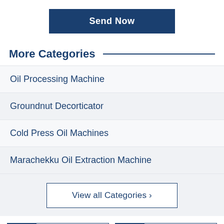Send Now
More Categories
Oil Processing Machine
Groundnut Decorticator
Cold Press Oil Machines
Marachekku Oil Extraction Machine
View all Categories ›
Call Us
Contact Us